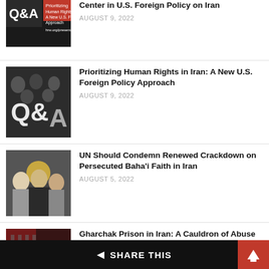Center in U.S. Foreign Policy on Iran
AUGUST 9, 2022
Prioritizing Human Rights in Iran: A New U.S. Foreign Policy Approach
AUGUST 9, 2022
UN Should Condemn Renewed Crackdown on Persecuted Baha'i Faith in Iran
AUGUST 5, 2022
Gharchak Prison in Iran: A Cauldron of Abuse and Violations
AUGUST 5, 2022
UN Expert Welcomes Historic Verdict in
◄ SHARE THIS